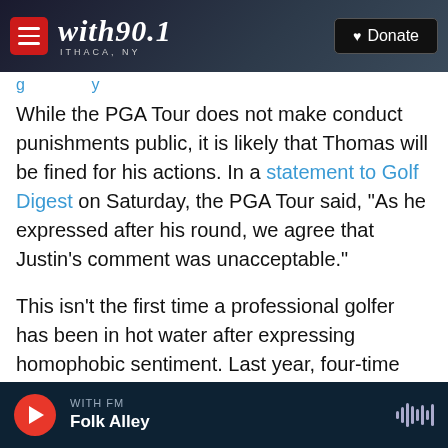with90.1 ITHACA, NY — Donate
While the PGA Tour does not make conduct punishments public, it is likely that Thomas will be fined for his actions. In a statement to Golf Digest on Saturday, the PGA Tour said, "As he expressed after his round, we agree that Justin's comment was unacceptable."
This isn't the first time a professional golfer has been in hot water after expressing homophobic sentiment. Last year, four-time PGA Tour winner Scott Piercy was dropped by five sponsors after sharing a homophobic meme on Instagram that
WITH FM — Folk Alley